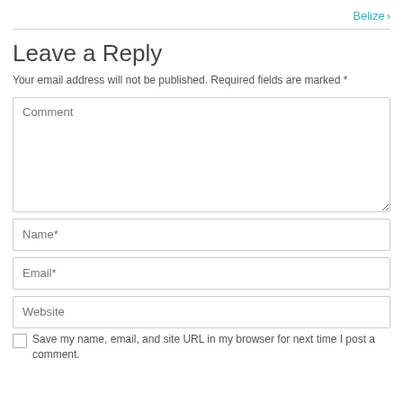Belize ›
Leave a Reply
Your email address will not be published. Required fields are marked *
[Figure (screenshot): Web form with Comment textarea, Name*, Email*, Website input fields, and a checkbox for saving browser info]
Save my name, email, and site URL in my browser for next time I post a comment.